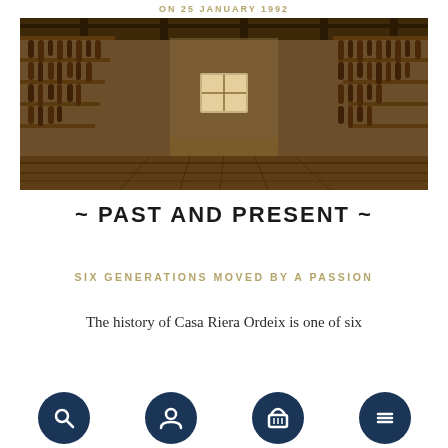ON 25 JANUARY 1992
[Figure (photo): Interior of a traditional curing room with wooden racks on both sides holding hanging cured sausages/meats, a wooden plank floor, and a small window at the far end letting in light.]
~ PAST AND PRESENT ~
SIX GENERATIONS MOVED BY A PASSION
The history of Casa Riera Ordeix is one of six
[Figure (illustration): Four dark navy circular icon buttons in a row: search (magnifying glass), user/account (person silhouette), basket/cart, and menu (hamburger lines).]